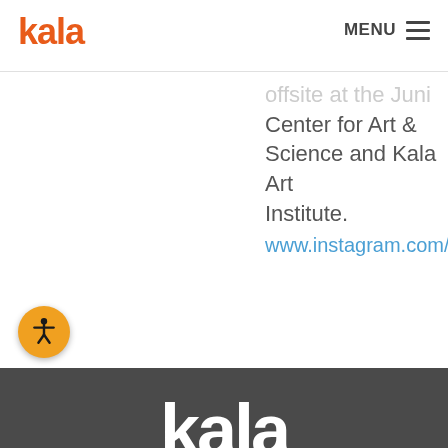kala
offsite at the Junior Center for Art & Science and Kala Art Institute.
www.instagram.com/joey
[Figure (logo): Accessibility icon button - person with arms outstretched in a circle, orange background]
kala